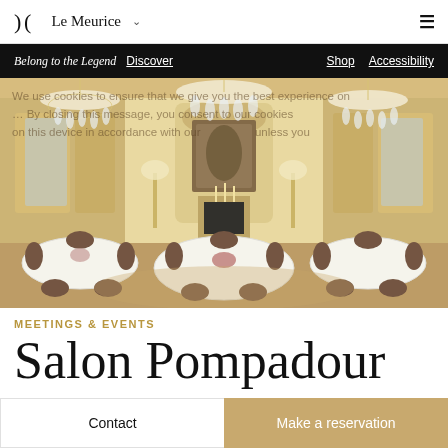Le Meurice
Belong to the Legend  Discover    Shop  Accessibility
[Figure (photo): Elegant grand ballroom / salon with crystal chandeliers, gilded white walls, round tables set for formal dinner, ornate French baroque interior, painting above fireplace]
We use cookies to ensure that we give you the best experience on … By closing this message, you consent to our cookies on this device in accordance with our … unless you …
MEETINGS & EVENTS
Salon Pompadour
Contact
Make a reservation